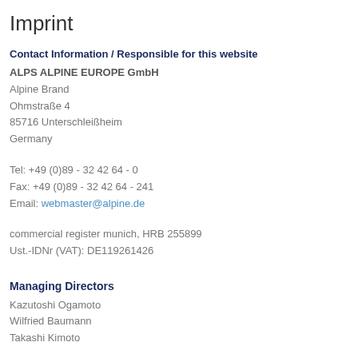Imprint
Contact Information / Responsible for this website
ALPS ALPINE EUROPE GmbH
Alpine Brand
Ohmstraße 4
85716 Unterschleißheim
Germany
Tel: +49 (0)89 - 32 42 64 - 0
Fax: +49 (0)89 - 32 42 64 - 241
Email: webmaster@alpine.de
commercial register munich, HRB 255899
Ust.-IDNr (VAT): DE119261426
Managing Directors
Kazutoshi Ogamoto
Wilfried Baumann
Takashi Kimoto